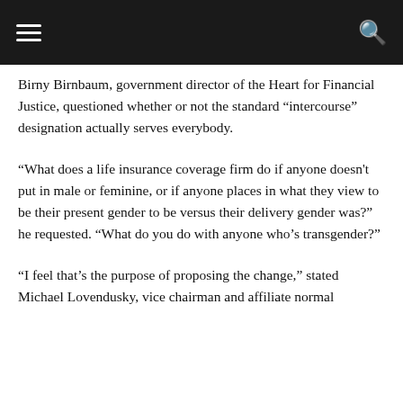Birny Birnbaum, government director of the Heart for Financial Justice, questioned whether or not the standard “intercourse” designation actually serves everybody.
“What does a life insurance coverage firm do if anyone doesn't put in male or feminine, or if anyone places in what they view to be their present gender to be versus their delivery gender was?” he requested. “What do you do with anyone who’s transgender?”
“I feel that’s the purpose of proposing the change,” stated Michael Lovendusky, vice chairman and affiliate normal